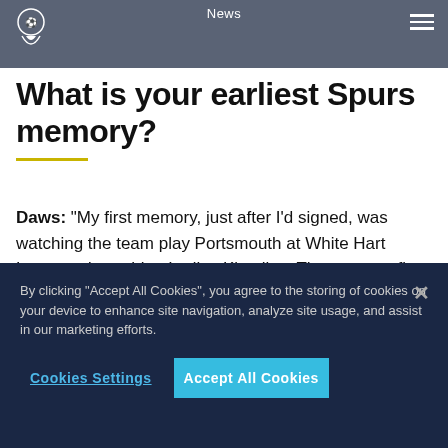News
What is your earliest Spurs memory?
Daws: “My first memory, just after I’d signed, was watching the team play Portsmouth at White Hart Lane, and watching Ledley King live. That was my first time at the Lane. I remember thinking, ‘wow, how am I going to play alongside him?’ as I watched Ledley. What a player. We had a great partnership together and many special days in that white shirt.”
By clicking “Accept All Cookies”, you agree to the storing of cookies on your device to enhance site navigation, analyze site usage, and assist in our marketing efforts.